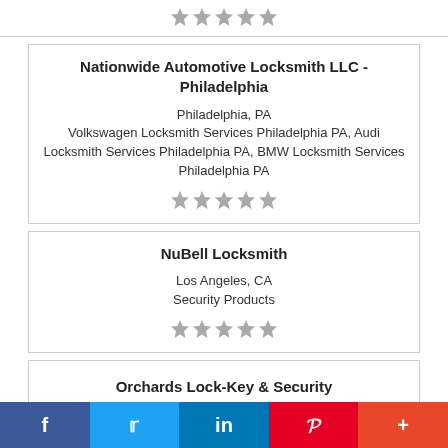[Figure (other): Five grey star rating icons in a row]
Nationwide Automotive Locksmith LLC - Philadelphia
Philadelphia, PA
Volkswagen Locksmith Services Philadelphia PA, Audi Locksmith Services Philadelphia PA, BMW Locksmith Services Philadelphia PA
[Figure (other): Five grey star rating icons in a row]
NuBell Locksmith
Los Angeles, CA
Security Products
[Figure (other): Five grey star rating icons in a row]
Orchards Lock-Key & Security
[Figure (other): Social sharing bar with Facebook, Twitter, LinkedIn, Pinterest, and More buttons]